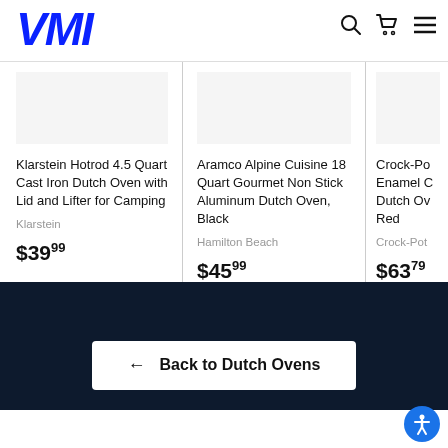VMI
Klarstein Hotrod 4.5 Quart Cast Iron Dutch Oven with Lid and Lifter for Camping
Klarstein
$39.99
Aramco Alpine Cuisine 18 Quart Gourmet Non Stick Aluminum Dutch Oven, Black
Hamilton Beach
$45.99
Crock-Pot Enamel Cast Dutch Oven Red
Crock-Pot
$63.79
← Back to Dutch Ovens